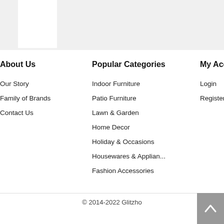About Us
Our Story
Family of Brands
Contact Us
Popular Categories
Indoor Furniture
Patio Furniture
Lawn & Garden
Home Decor
Holiday & Occasions
Housewares & Applian...
Fashion Accessories
My Account
Login
Register
© 2014-2022 Glitzho